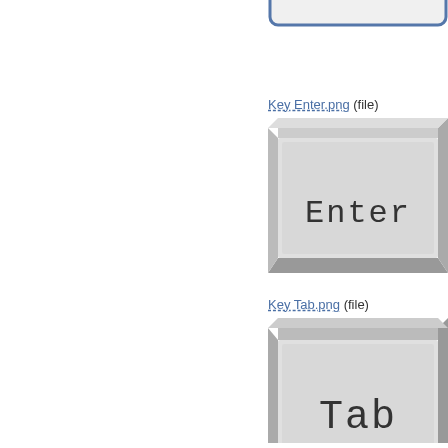[Figure (illustration): Partially visible keyboard key button at the top right, showing a rounded rectangle with blue border, cropped]
Key Enter.png (file)
[Figure (illustration): 3D rendered keyboard Enter key button, gray with beveled edges, text 'Enter' in pixel/monospace font]
Key Tab.png (file)
[Figure (illustration): 3D rendered keyboard Tab key button, gray with beveled edges, text 'Tab' in pixel/monospace font]